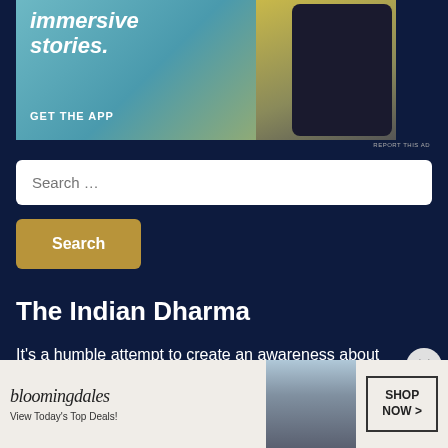[Figure (screenshot): App advertisement banner with text 'immersive stories.' and 'GET THE APP' alongside a phone screenshot showing a person in yellow jacket near a waterfall]
REPORT THIS AD
Search …
Search
The Indian Dharma
It's a humble attempt to create an awareness about our rich
[Figure (screenshot): Bloomingdales advertisement banner: 'bloomingdales View Today's Top Deals!' with model in hat and 'SHOP NOW >' button]